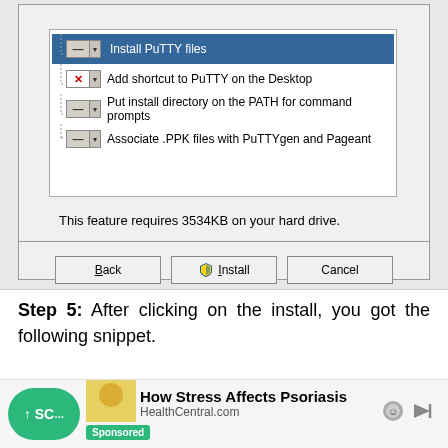[Figure (screenshot): Windows installer dialog showing PuTTY feature selection list with items: Install PuTTY files (highlighted/selected), Add shortcut to PuTTY on the Desktop (with X icon), Put install directory on the PATH for command prompts, Associate .PPK files with PuTTYgen and Pageant. Below the list: 'This feature requires 3534KB on your hard drive.' Buttons: Back, Install (with shield icon), Cancel.]
Step 5: After clicking on the install, you got the following snippet.
[Figure (photo): Partial photo of a person, cropped, with yellowish/golden tones in background.]
[Figure (screenshot): Ad bar: scroll-to-top button showing '↑ SC...' in green, sponsored label, and advertisement for 'How Stress Affects Psoriasis' from HealthCentral.com]